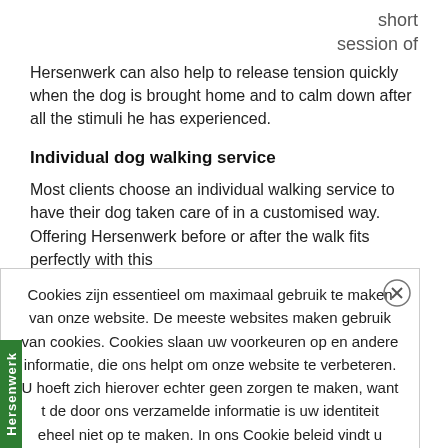short session of
Hersenwerk can also help to release tension quickly when the dog is brought home and to calm down after all the stimuli he has experienced.
Individual dog walking service
Most clients choose an individual walking service to have their dog taken care of in a customised way. Offering Hersenwerk before or after the walk fits perfectly with this
Cookies zijn essentieel om maximaal gebruik te maken van onze website. De meeste websites maken gebruik van cookies. Cookies slaan uw voorkeuren op en andere informatie, die ons helpt om onze website te verbeteren. U hoeft zich hierover echter geen zorgen te maken, want t de door ons verzamelde informatie is uw identiteit eheel niet op te maken. In ons Cookie beleid vindt u meer informatie over cookies en hoe u uw wserinstellingen kunt aanpassen om cookies wel/niet te accepteren. More info OK